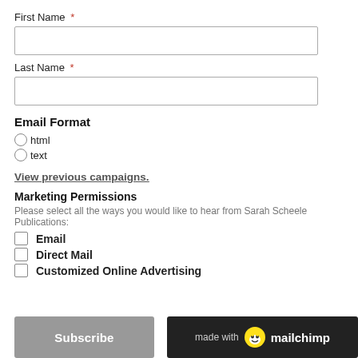First Name *
Last Name *
Email Format
html
text
View previous campaigns.
Marketing Permissions
Please select all the ways you would like to hear from Sarah Scheele Publications:
Email
Direct Mail
Customized Online Advertising
Subscribe
[Figure (logo): Mailchimp logo badge: 'made with mailchimp' on dark background with chimp icon]